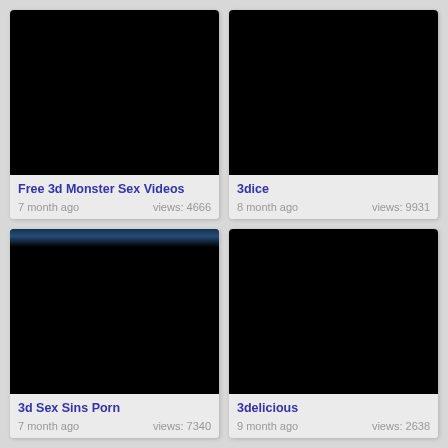[Figure (screenshot): Black video thumbnail for 'Free 3d Monster Sex Videos']
Free 3d Monster Sex Videos
7 month ago   views: 4666
[Figure (screenshot): Black video thumbnail for '3dice']
3dice
8 month ago   views: 9931
[Figure (screenshot): Video thumbnail with dark bar at top for '3d Sex Sins Porn']
3d Sex Sins Porn
7 month ago   views: 7340
[Figure (screenshot): Black video thumbnail for '3delicious']
3delicious
9 month ago   views: 2638